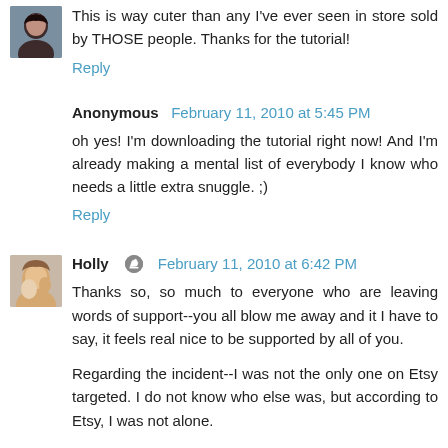This is way cuter than any I've ever seen in store sold by THOSE people. Thanks for the tutorial!
Reply
Anonymous  February 11, 2010 at 5:45 PM
oh yes! I'm downloading the tutorial right now! And I'm already making a mental list of everybody I know who needs a little extra snuggle. ;)
Reply
Holly  February 11, 2010 at 6:42 PM
Thanks so, so much to everyone who are leaving words of support--you all blow me away and it I have to say, it feels real nice to be supported by all of you.
Regarding the incident--I was not the only one on Etsy targeted. I do not know who else was, but according to Etsy, I was not alone.